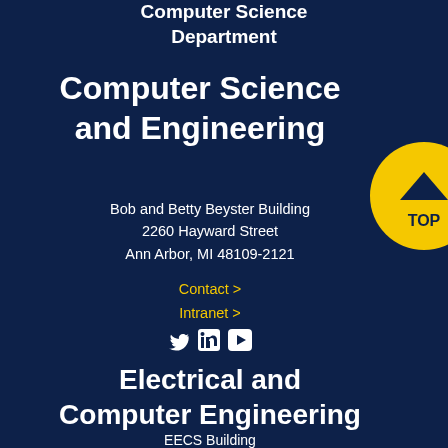Computer Science Department
Computer Science and Engineering
Bob and Betty Beyster Building
2260 Hayward Street
Ann Arbor, MI 48109-2121
Contact >
Intranet >
[Figure (illustration): Social media icons: Twitter, LinkedIn, YouTube]
[Figure (illustration): Yellow circular TOP button with chevron up arrow]
Electrical and Computer Engineering
EECS Building
1301 Beal Avenue
Ann Arbor, MI 48109-2122